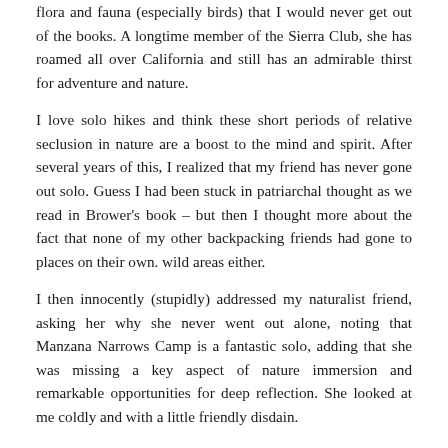flora and fauna (especially birds) that I would never get out of the books. A longtime member of the Sierra Club, she has roamed all over California and still has an admirable thirst for adventure and nature.
I love solo hikes and think these short periods of relative seclusion in nature are a boost to the mind and spirit. After several years of this, I realized that my friend has never gone out solo. Guess I had been stuck in patriarchal thought as we read in Brower's book – but then I thought more about the fact that none of my other backpacking friends had gone to places on their own. wild areas either.
I then innocently (stupidly) addressed my naturalist friend, asking her why she never went out alone, noting that Manzana Narrows Camp is a fantastic solo, adding that she was missing a key aspect of nature immersion and remarkable opportunities for deep reflection. She looked at me coldly and with a little friendly disdain.
“Dan, I’m a five-foot, six-inch woman, and rock solid, but as a woman I’m much more at risk than you are in your aggressive 6-foot male body. I also refuse to carry a handgun or bear spray.